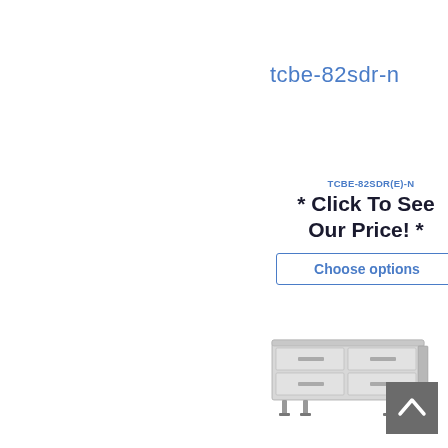tcbe-82sdr-n
TCBE-82SDR(E)-N
* Click To See Our Price! *
Choose options
[Figure (photo): Commercial refrigerated chef base unit with 4 drawers on legs, stainless steel finish]
[Figure (other): Back to top button arrow icon]